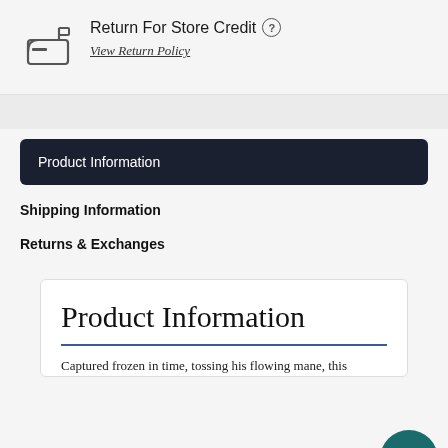Return For Store Credit
View Return Policy
Product Information
Shipping Information
Returns & Exchanges
Hi. Need any help?
Product Information
Captured frozen in time, tossing his flowing mane, this